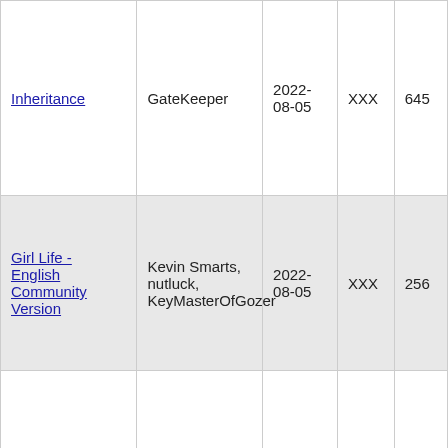| Inheritance | GateKeeper | 2022-08-05 | XXX | 645 |
| Girl Life - English Community Version | Kevin Smarts, nutluck, KeyMasterOfGozer | 2022-08-05 | XXX | 256 |
|  |  |  |  |  |